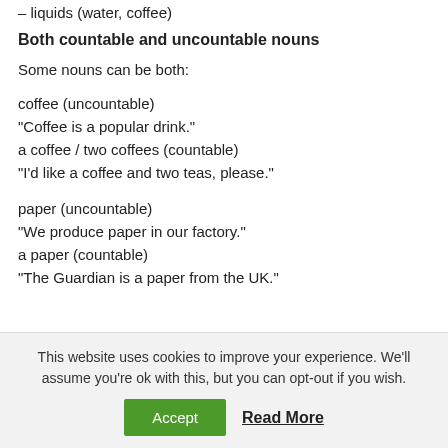– liquids (water, coffee)
Both countable and uncountable nouns
Some nouns can be both:
coffee (uncountable)
“Coffee is a popular drink.”
a coffee / two coffees (countable)
“I’d like a coffee and two teas, please.”
paper (uncountable)
“We produce paper in our factory.”
a paper (countable)
“The Guardian is a paper from the UK.”
This website uses cookies to improve your experience. We’ll assume you’re ok with this, but you can opt-out if you wish.